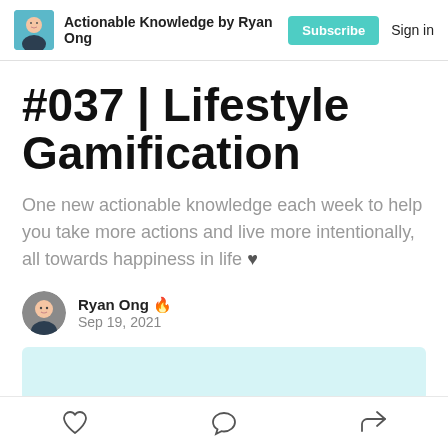Actionable Knowledge by Ryan Ong  Subscribe  Sign in
#037 | Lifestyle Gamification
One new actionable knowledge each week to help you take more actions and live more intentionally, all towards happiness in life ♥
Ryan Ong 🔥
Sep 19, 2021